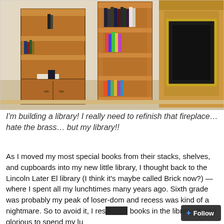[Figure (photo): Indoor photo of a living room with two wooden bookshelves containing books, and a fireplace with brass trim on the right side. Beige/cream carpet and walls.]
I'm building a library! I really need to refinish that fireplace… hate the brass… but my library!!
As I moved my most special books from their stacks, shelves, and cupboards into my new little library, I thought back to the Lincoln Later El library (I think it's maybe called Brick now?) — where I spent all my lunchtimes many years ago. Sixth grade was probably my peak of loser-dom and recess was kind of a nightmare. So to avoid it, I reshelved books in the library. It was glorious to spend my lu